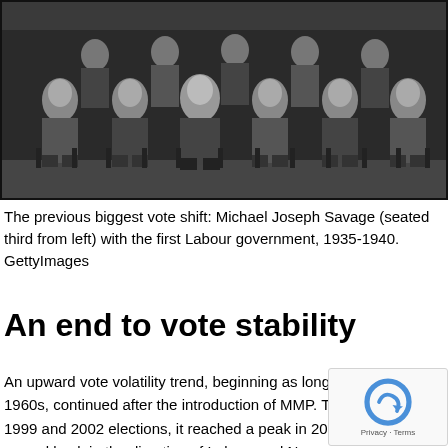[Figure (photo): Black and white group photo of men in suits seated and standing in rows, representing Michael Joseph Savage (seated third from left) with the first Labour government, 1935-1940.]
The previous biggest vote shift: Michael Joseph Savage (seated third from left) with the first Labour government, 1935-1940. GettyImages
An end to vote stability
An upward vote volatility trend, beginning as long ago as the 1960s, continued after the introduction of MMP. Through 1996, 1999 and 2002 elections, it reached a peak in 200 that, votes moved back in the direction of Labour and National.